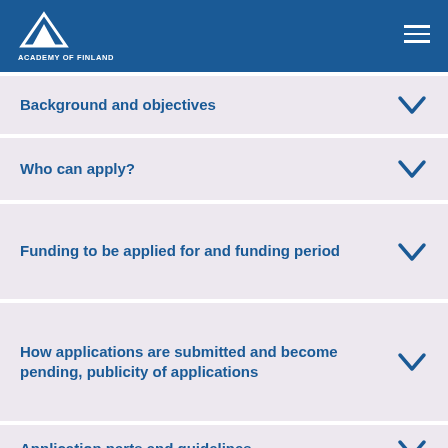ACADEMY OF FINLAND
Background and objectives
Who can apply?
Funding to be applied for and funding period
How applications are submitted and become pending, publicity of applications
Application parts and guidelines